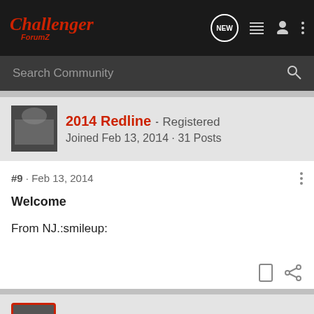[Figure (logo): Challenger ForumZ logo in red italic script on dark background]
Search Community
2014 Redline · Registered
Joined Feb 13, 2014 · 31 Posts
#9 · Feb 13, 2014
Welcome
From NJ.:smileup:
Dodgeguy · Administrator